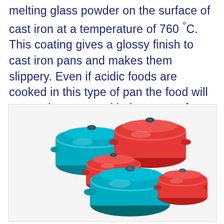melting glass powder on the surface of cast iron at a temperature of 760 °C. This coating gives a glossy finish to cast iron pans and makes them slippery. Even if acidic foods are cooked in this type of pan the food will not get in contact with the pan surface.
[Figure (photo): A group of enameled cast iron cookware pots and casseroles in teal/turquoise and red colors, shown with lids, arranged in a cluster on a white background.]